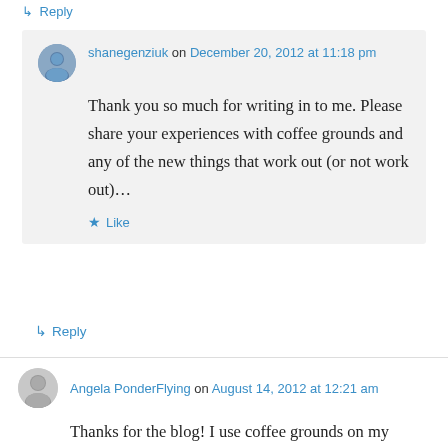↳ Reply
shanegenziuk on December 20, 2012 at 11:18 pm

Thank you so much for writing in to me. Please share your experiences with coffee grounds and any of the new things that work out (or not work out)…

★ Like
↳ Reply
Angela PonderFlying on August 14, 2012 at 12:21 am

Thanks for the blog! I use coffee grounds on my Elephant plant... It's a nitrogen hog. I was